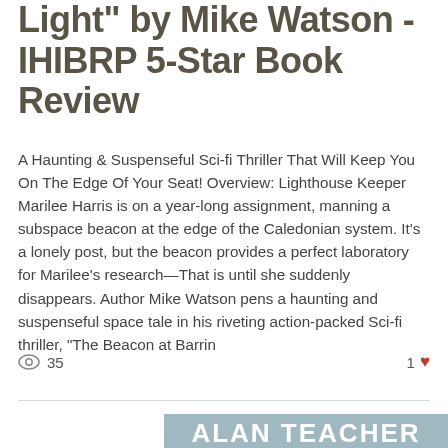Light" by Mike Watson - IHIBRP 5-Star Book Review
A Haunting & Suspenseful Sci-fi Thriller That Will Keep You On The Edge Of Your Seat! Overview: Lighthouse Keeper Marilee Harris is on a year-long assignment, manning a subspace beacon at the edge of the Caledonian system. It's a lonely post, but the beacon provides a perfect laboratory for Marilee's research—That is until she suddenly disappears. Author Mike Watson pens a haunting and suspenseful space tale in his riveting action-packed Sci-fi thriller, “The Beacon at Barrin
35 views   1 like
[Figure (photo): Bottom portion of an image showing outdoor scenery with text overlay reading 'ALAN TEACHER' in large bold white letters]